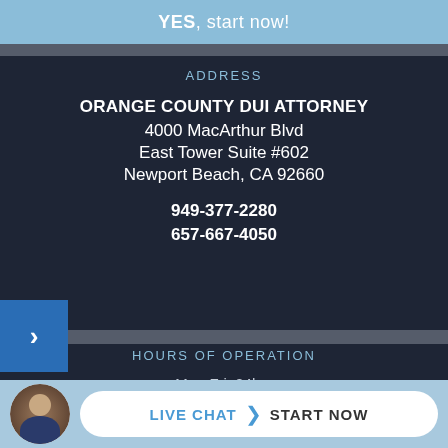YES, start now!
ADDRESS
ORANGE COUNTY DUI ATTORNEY
4000 MacArthur Blvd
East Tower Suite #602
Newport Beach, CA 92660
949-377-2280
657-667-4050
HOURS OF OPERATION
Mon-Fri: 24hrs
Saturday: 24hrs
Sunday: 24hrs
LIVE CHAT  START NOW